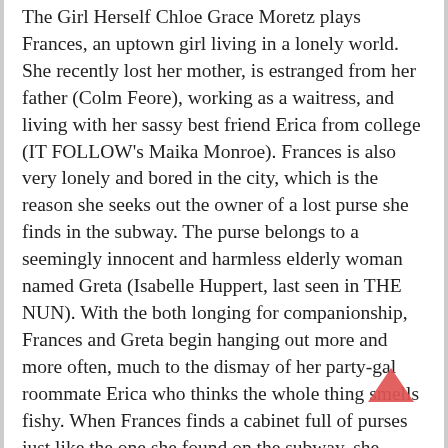The Girl Herself Chloe Grace Moretz plays Frances, an uptown girl living in a lonely world. She recently lost her mother, is estranged from her father (Colm Feore), working as a waitress, and living with her sassy best friend Erica from college (IT FOLLOW's Maika Monroe). Frances is also very lonely and bored in the city, which is the reason she seeks out the owner of a lost purse she finds in the subway. The purse belongs to a seemingly innocent and harmless elderly woman named Greta (Isabelle Huppert, last seen in THE NUN). With the both longing for companionship, Frances and Greta begin hanging out more and more often, much to the dismay of her party-gal roommate Erica who thinks the whole thing smells fishy. When Frances finds a cabinet full of purses just like the one she found on the subway, she realizes Greta isn't what she seems and tries to break off the relationship. This breakup proves to be harder than it seems for Greta is as obsessive as Frances is naïve.